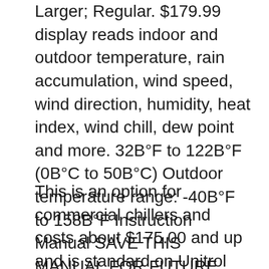Larger; Regular. $179.99 display reads indoor and outdoor temperature, rain accumulation, wind speed, wind direction, humidity, heat index, wind chill, dew point and more. 32B°F to 122B°F (0B°C to 50B°C) Outdoor temperature range: -40B°F to 158B°F Instruction Manual SAVE THIS MANUAL FOR FUTURE REFERENCE. Questions? Contact Customer Support at (877) 221-1252 or visit www.AcuRite.com. TO RECEIVE WARRANTY SERVICE chill, daily, monthly, all time high & low
This is an option for commercial chillers and costs about $175.00 and up and is standard on Unitrol chillers except model #8000. LOW WATER FLOW SAFETY SWITCH to protect refrigeration components stops the compressor if a fault occurs that could freeze the system.